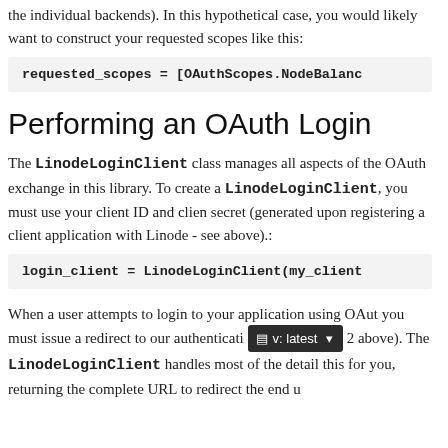the individual backends). In this hypothetical case, you would likely want to construct your requested scopes like this:
Performing an OAuth Login
The LinodeLoginClient class manages all aspects of the OAuth exchange in this library. To create a LinodeLoginClient, you must use your client ID and client secret (generated upon registering a client application with Linode - see above).:
When a user attempts to login to your application using OAut you must issue a redirect to our authenticati v: latest 2 above). The LinodeLoginClient handles most of the detail this for you, returning the complete URL to redirect the end u